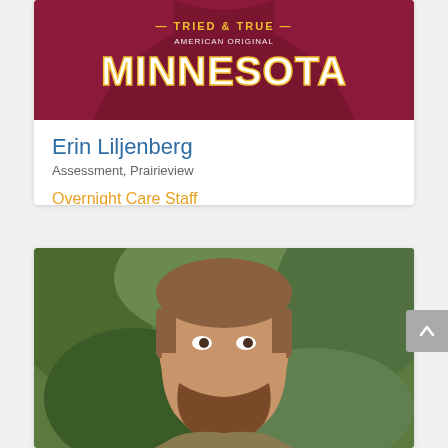[Figure (photo): Person wearing a maroon Minnesota hoodie sweatshirt with 'Tried & True American Original Minnesota' text]
Erin Liljenberg
Assessment, Prairieview
Overnight Care Staff
[Figure (photo): Smiling man with beard and brown hair outdoors with green foliage background]